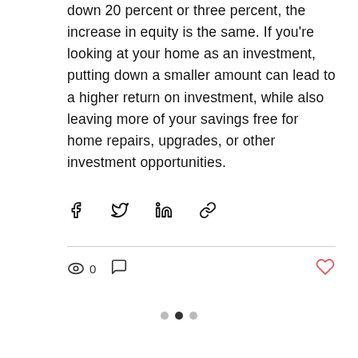down 20 percent or three percent, the increase in equity is the same. If you're looking at your home as an investment, putting down a smaller amount can lead to a higher return on investment, while also leaving more of your savings free for home repairs, upgrades, or other investment opportunities.
[Figure (other): Social share icons: Facebook, Twitter, LinkedIn, and link/chain icon]
[Figure (other): Post engagement row: eye/views icon showing 0, comment bubble icon, and a heart/like icon on the right]
[Figure (other): Pagination dots: three dots, middle one is active (dark), outer two are light grey]